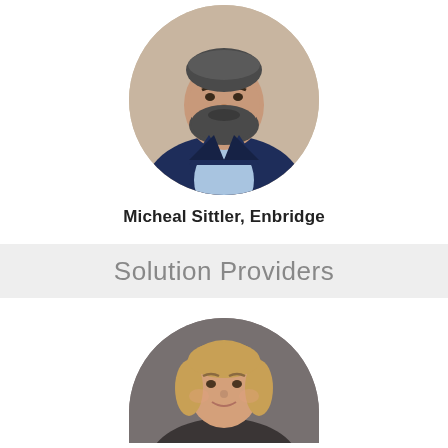[Figure (photo): Circular portrait photo of a man with a beard wearing a dark navy suit and light blue shirt, photographed against a beige stone background.]
Micheal Sittler, Enbridge
Solution Providers
[Figure (photo): Circular portrait photo of a woman with shoulder-length blonde hair, photographed against a gray background. Only the upper portion of the circle is visible.]